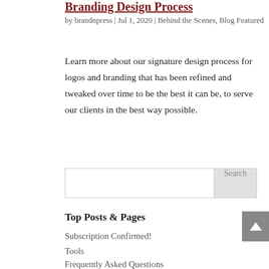Branding Design Process
by brandnpress | Jul 1, 2020 | Behind the Scenes, Blog Featured
Learn more about our signature design process for logos and branding that has been refined and tweaked over time to be the best it can be, to serve our clients in the best way possible.
Top Posts & Pages
Subscription Confirmed!
Tools
Frequently Asked Questions
Categories